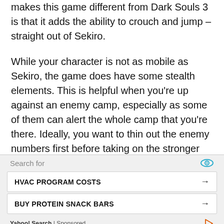makes this game different from Dark Souls 3 is that it adds the ability to crouch and jump – straight out of Sekiro.
While your character is not as mobile as Sekiro, the game does have some stealth elements. This is helpful when you're up against an enemy camp, especially as some of them can alert the whole camp that you're there. Ideally, you want to thin out the enemy numbers first before taking on the stronger foes there. If you do accidentally alert em, or if you prefer taking them all at once, you
[Figure (infographic): Yahoo Search sponsored ad banner with search bar, two ad items: HVAC PROGRAM COSTS and BUY PROTEIN SNACK BARS, and Yahoo Search | Sponsored footer with play icon.]